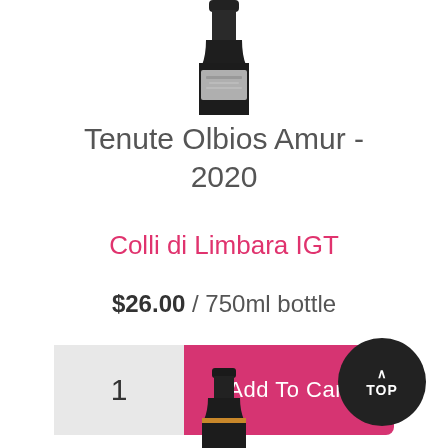[Figure (photo): Top portion of a dark wine bottle cropped at top of page]
Tenute Olbios Amur - 2020
Colli di Limbara IGT
$26.00 / 750ml bottle
1  Add To Cart
[Figure (photo): Top portion of a second dark wine bottle partially visible at bottom of page]
^ TOP